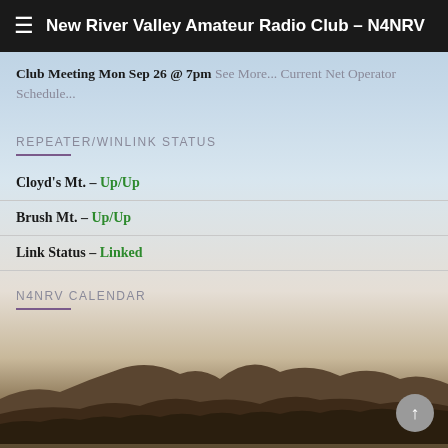New River Valley Amateur Radio Club – N4NRV
Club Meeting Mon Sep 26 @ 7pm See More... Current Net Operator Schedule...
REPEATER/WINLINK STATUS
Cloyd's Mt. – Up/Up
Brush Mt. – Up/Up
Link Status – Linked
N4NRV CALENDAR